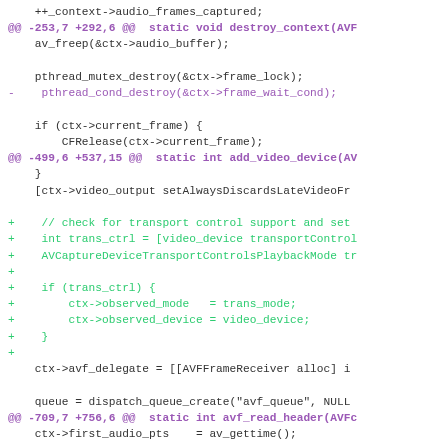[Figure (screenshot): Source code diff showing changes to an AVFoundation capture device implementation in C/Objective-C. The diff includes hunk headers, removed lines (purple/pink), added lines (green), and context lines (black monospace text).]